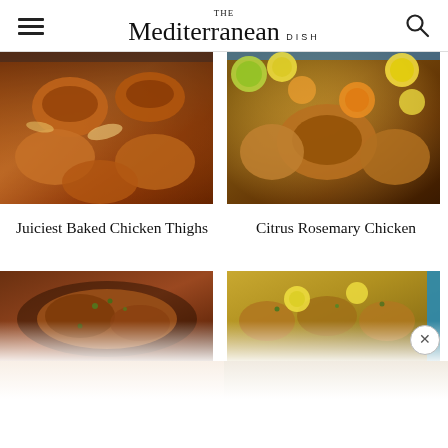THE Mediterranean DISH
[Figure (photo): Baked chicken thighs in a red sauce in a rectangular baking pan, top view]
[Figure (photo): Citrus rosemary chicken in a round pan with lemon and lime slices, top view]
Juiciest Baked Chicken Thighs
Citrus Rosemary Chicken
[Figure (photo): Chicken in a cast iron skillet with herbs, partially visible, bottom portion faded]
[Figure (photo): Baked chicken drumsticks with lemon slices and herbs in a blue tray, partially visible, bottom portion faded]